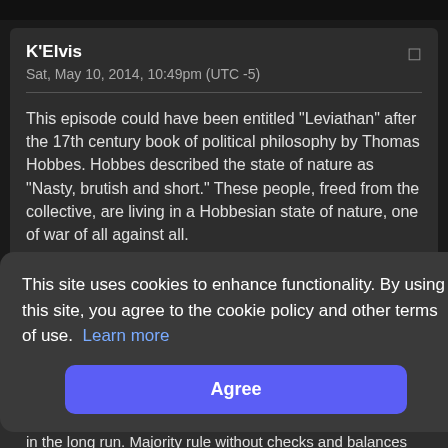K'Elvis
Sat, May 10, 2014, 10:49pm (UTC -5)
This episode could have been entitled "Leviathan" after the 17th century book of political philosophy by Thomas Hobbes. Hobbes described the state of nature as "Nasty, brutish and short." These people, freed from the collective, are living in a Hobbesian state of nature, one of war of all against all.
Hobbes favored an absolute monarch to prevent civil
This site uses cookies to enhance functionality. By using this site, you agree to the cookie policy and other terms of use. Learn more
Agree
in the long run. Majority rule without checks and balances